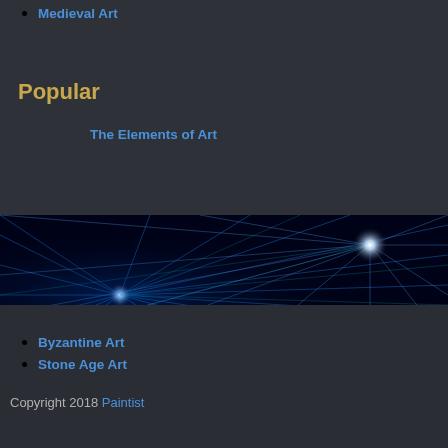Medieval Art
Popular
The Elements of Art
[Figure (photo): Blue laser light rays radiating outward on dark background, with bright white light burst points]
Byzantine Art
Stone Age Art
Copyright 2018 Paintist